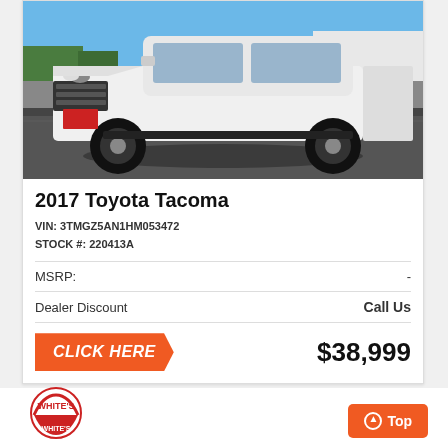[Figure (photo): White 2017 Toyota Tacoma truck parked at Mountain Motors dealership lot, front 3/4 view, blue sky background]
2017 Toyota Tacoma
VIN: 3TMGZ5AN1HM053472
STOCK #: 220413A
| MSRP: | - |
| Dealer Discount | Call Us |
CLICK HERE
$38,999
[Figure (logo): White's dealership logo - red arch logo at bottom of page]
Top